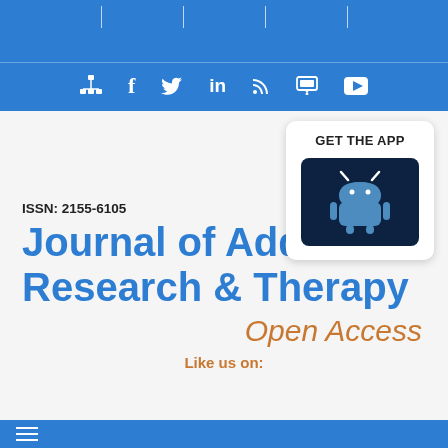[Figure (screenshot): Blue header bar with vertical tick marks and social media icons bar (network/hierarchy, Facebook, Twitter, LinkedIn, RSS, Slideshare/presentation, YouTube)]
[Figure (other): GET THE APP box with Android robot icon button on dark navy background]
ISSN: 2155-6105
Journal of Addiction Research & Therapy
Open Access
Like us on:
hamburger menu icon on blue bar